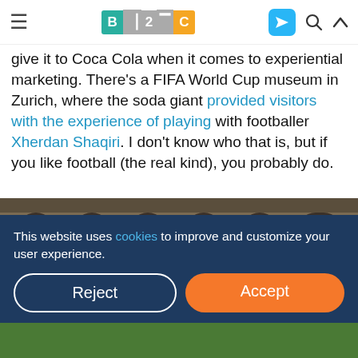≡  B2C  [telegram icon] [search icon] [up icon]
give it to Coca Cola when it comes to experiential marketing. There's a FIFA World Cup museum in Zurich, where the soda giant provided visitors with the experience of playing with footballer Xherdan Shaqiri. I don't know who that is, but if you like football (the real kind), you probably do.
[Figure (photo): Photo of a large railway station or public hall with stone arched architecture, people walking outside, and Coca-Cola branded red elements/kiosk visible]
This website uses cookies to improve and customize your user experience.
Reject  Accept